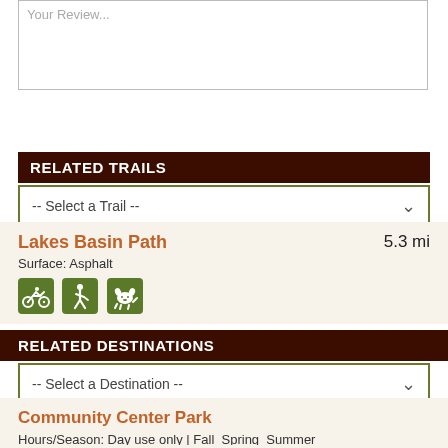Your Review...
Submit Your Review
RELATED TRAILS
-- Select a Trail --
Lakes Basin Path  5.3 mi
Surface: Asphalt
RELATED DESTINATIONS
-- Select a Destination --
Community Center Park
Hours/Season: Day use only | Fall  Spring  Summer
Horseshoe Lake
Hours/Season: N/A | Year Round